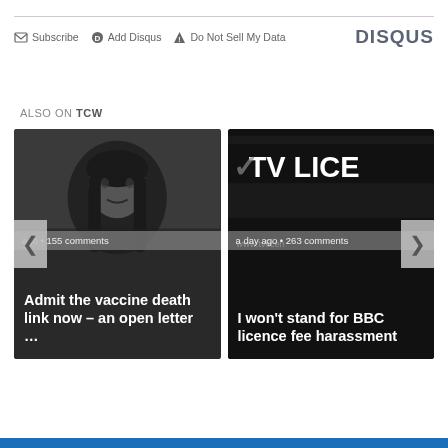Subscribe  Add Disqus  Do Not Sell My Data  DISQUS
ALSO ON TCW
[Figure (photo): Two article cards side by side. Left card: black and white photo of a person with long dark hair, text overlay 'ago • 155 comments' and title 'Admit the vaccine death link now – an open letter …'. Right card: black and white photo of a TV Licence sign, text overlay 'a day ago • 263 comments' and title 'I won't stand for BBC licence fee harassment'. Navigation arrows on left and right sides.]